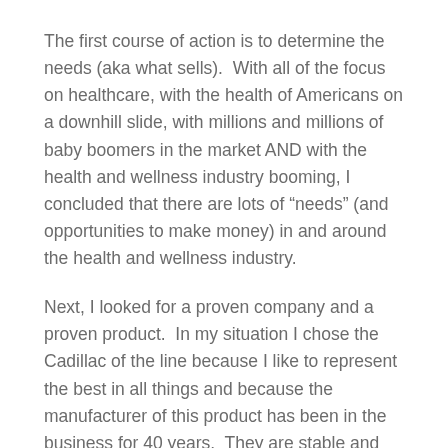The first course of action is to determine the needs (aka what sells).  With all of the focus on healthcare, with the health of Americans on a downhill slide, with millions and millions of baby boomers in the market AND with the health and wellness industry booming, I concluded that there are lots of “needs” (and opportunities to make money) in and around the health and wellness industry.
Next, I looked for a proven company and a proven product.  In my situation I chose the Cadillac of the line because I like to represent the best in all things and because the manufacturer of this product has been in the business for 40 years.  They are stable and the product will be available for the long run. Representing this company works very well for me.